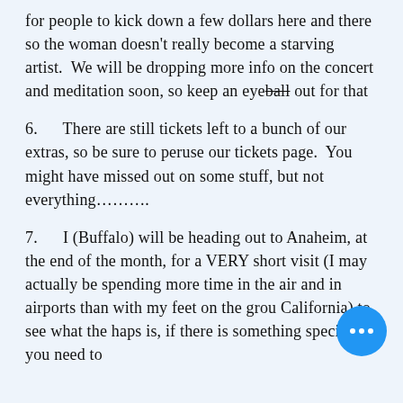for people to kick down a few dollars here and there so the woman doesn't really become a starving artist.  We will be dropping more info on the concert and meditation soon, so keep an eyeball out for that
6.      There are still tickets left to a bunch of our extras, so be sure to peruse our tickets page.  You might have missed out on some stuff, but not everything……….
7.      I (Buffalo) will be heading out to Anaheim, at the end of the month, for a VERY short visit (I may actually be spending more time in the air and in airports than with my feet on the grou California) to see what the haps is, if there is something specific you need to